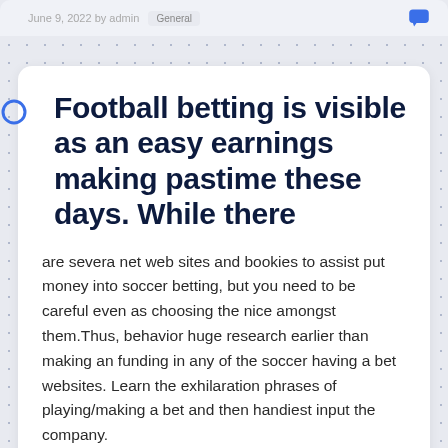June 9, 2022 by admin   General
Football betting is visible as an easy earnings making pastime these days. While there
are severa net web sites and bookies to assist put money into soccer betting, but you need to be careful even as choosing the nice amongst them. Thus, behavior huge research earlier than making an funding in any of the soccer having a bet websites. Learn the exhilaration phrases of playing/making a bet and then handiest input the company.
Guidelines For Money Management In Football Betting: